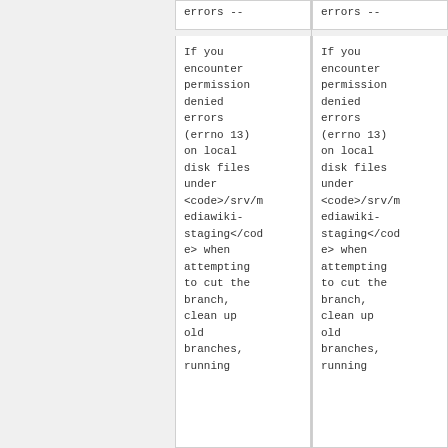errors --
errors --
If you encounter permission denied errors (errno 13) on local disk files under <code>/srv/mediawiki-staging</code> when attempting to cut the branch, clean up old branches, running
If you encounter permission denied errors (errno 13) on local disk files under <code>/srv/mediawiki-staging</code> when attempting to cut the branch, clean up old branches, running